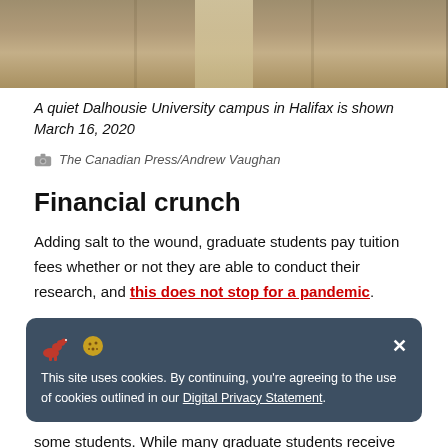[Figure (photo): A quiet Dalhousie University campus in Halifax, showing a pathway through the grounds, taken March 16, 2020]
A quiet Dalhousie University campus in Halifax is shown March 16, 2020
The Canadian Press/Andrew Vaughan
Financial crunch
Adding salt to the wound, graduate students pay tuition fees whether or not they are able to conduct their research, and this does not stop for a pandemic.
This site uses cookies. By continuing, you're agreeing to the use of cookies outlined in our Digital Privacy Statement.
some students. While many graduate students receive